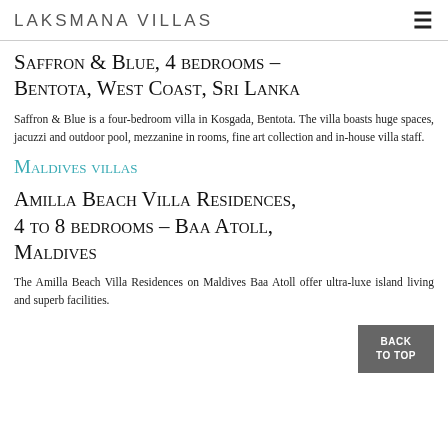LAKSMANA VILLAS
Saffron & Blue, 4 bedrooms – Bentota, West Coast, Sri Lanka
Saffron & Blue is a four-bedroom villa in Kosgada, Bentota. The villa boasts huge spaces, jacuzzi and outdoor pool, mezzanine in rooms, fine art collection and in-house villa staff.
Maldives villas
Amilla Beach Villa Residences, 4 to 8 bedrooms – Baa Atoll, Maldives
The Amilla Beach Villa Residences on Maldives Baa Atoll offer ultra-luxe island living and superb facilities.